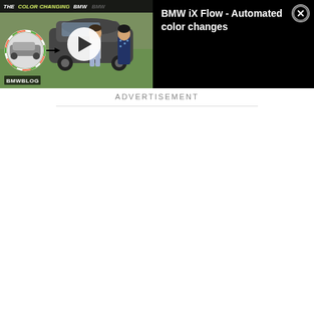[Figure (screenshot): Video player showing BMW iX Flow color-changing car. Left side: video thumbnail with play button overlay showing two people standing next to a BMW iX car, with a small circular inset of the car, BMW BLOG watermark, and header text 'THE COLOR CHANGING BMW'. Right side: black panel showing title 'BMW iX Flow - Automated color changes' and a close (X) button.]
ADVERTISEMENT